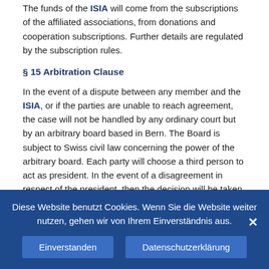The funds of the ISIA will come from the subscriptions of the affiliated associations, from donations and cooperation subscriptions. Further details are regulated by the subscription rules.
§ 15 Arbitration Clause
In the event of a dispute between any member and the ISIA, or if the parties are unable to reach agreement, the case will not be handled by any ordinary court but by an arbitrary board based in Bern. The Board is subject to Swiss civil law concerning the power of the arbitrary board. Each party will choose a third person to act as president. In the event of a disagreement in respect of the president, then the decision will be taken by the proper judicial authority in accordance with §12 of the civil code. The costs are to be paid by the parties.
As far as the regulations of the proceedings are concerned, the
Diese Website benutzt Cookies. Wenn Sie die Website weiter nutzen, gehen wir von Ihrem Einverständnis aus.
Einverstanden
Datenschutzerklärung